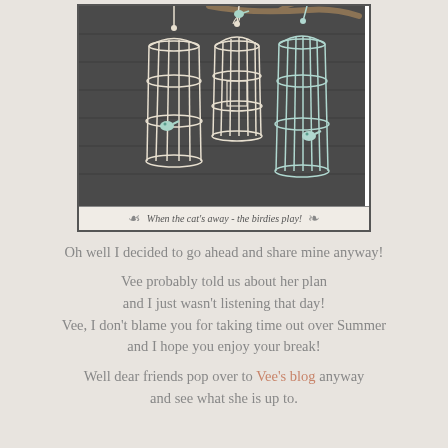[Figure (photo): Three decorative wire bird cages hanging from a branch against a dark wood-plank wall. Left and right cages are white/cream wire; middle and right cages have teal/aqua color. Small bird silhouettes are inside each cage.]
When the cat's away - the birdies play!
Oh well I decided to go ahead and share mine anyway!
Vee probably told us about her plan and I just wasn't listening that day! Vee, I don't blame you for taking time out over Summer and I hope you enjoy your break!
Well dear friends pop over to Vee's blog anyway and see what she is up to.